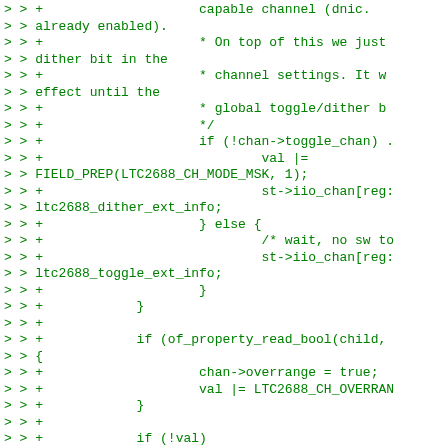Code diff showing C kernel driver code for LTC2688 DAC channel configuration including toggle/dither mode handling, overrange setting, and register write operations.